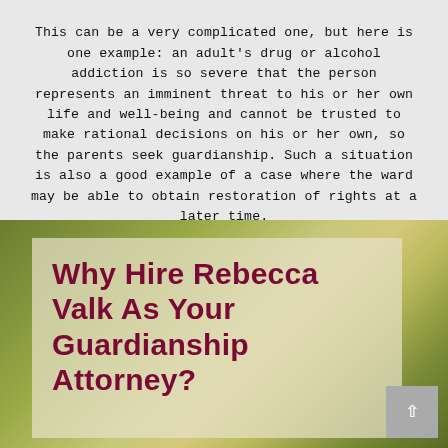This can be a very complicated one, but here is one example: an adult's drug or alcohol addiction is so severe that the person represents an imminent threat to his or her own life and well-being and cannot be trusted to make rational decisions on his or her own, so the parents seek guardianship. Such a situation is also a good example of a case where the ward may be able to obtain restoration of rights at a later time.
[Figure (photo): Blurred outdoor background with green and yellow bokeh tones, with a semi-transparent beige overlay box containing the title text.]
Why Hire Rebecca Valk As Your Guardianship Attorney?